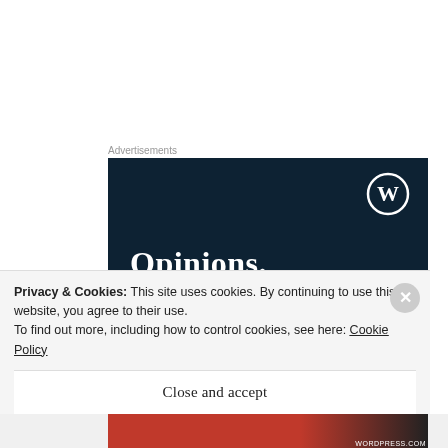Advertisements
[Figure (illustration): Dark navy blue advertisement banner for WordPress.com featuring the WordPress logo (W in circle) in top right, large white serif text reading 'Opinions.' and partially visible text 'We all have them!']
Advertisements
Privacy & Cookies: This site uses cookies. By continuing to use this website, you agree to their use.
To find out more, including how to control cookies, see here: Cookie Policy
Close and accept